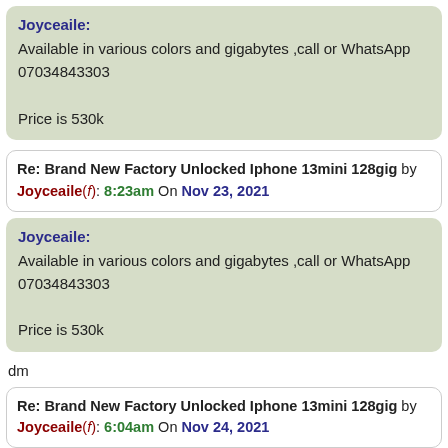Joyceaile: Available in various colors and gigabytes ,call or WhatsApp 07034843303

Price is 530k
Re: Brand New Factory Unlocked Iphone 13mini 128gig by Joyceaile(f): 8:23am On Nov 23, 2021
Joyceaile: Available in various colors and gigabytes ,call or WhatsApp 07034843303

Price is 530k
dm
Re: Brand New Factory Unlocked Iphone 13mini 128gig by Joyceaile(f): 6:04am On Nov 24, 2021
Joyceaile: Available in various colors and gigabytes ,call or WhatsApp 07034843303